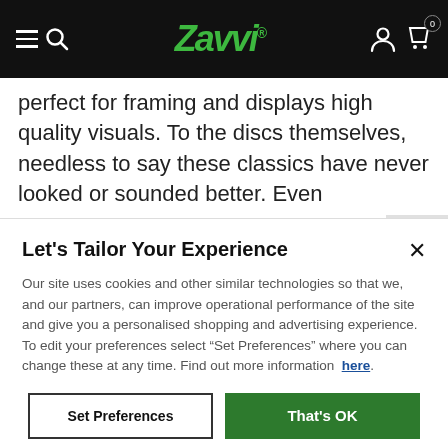Zavvi. [navigation bar with hamburger menu, search, logo, account, cart (0)]
perfect for framing and displays high quality visuals. To the discs themselves, needless to say these classics have never looked or sounded better. Even
WELCOME
Let's Tailor Your Experience
Our site uses cookies and other similar technologies so that we, and our partners, can improve operational performance of the site and give you a personalised shopping and advertising experience. To edit your preferences select “Set Preferences” where you can change these at any time. Find out more information here.